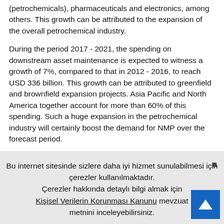(petrochemicals), pharmaceuticals and electronics, among others. This growth can be attributed to the expansion of the overall petrochemical industry.
During the period 2017 - 2021, the spending on downstream asset maintenance is expected to witness a growth of 7%, compared to that in 2012 - 2016, to reach USD 336 billion. This growth can be attributed to greenfield and brownfield expansion projects. Asia Pacific and North America together account for more than 60% of this spending. Such a huge expansion in the petrochemical industry will certainly boost the demand for NMP over the forecast period.
U.S. N-Methyl-2-Pyrrolidone market revenue, by application, 2013 - 2025 (USD Million)
Bu internet sitesinde sizlere daha iyi hizmet sunulabilmesi için çerezler kullanılmaktadır. Çerezler hakkında detaylı bilgi almak için Kişisel Verilerin Korunması Kanunu mevzuatını inceleyebilirsiniz.